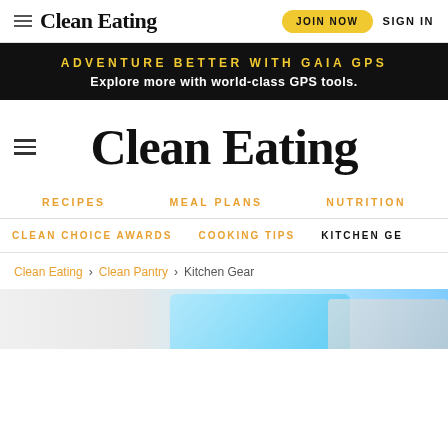Clean Eating — JOIN NOW  SIGN IN
[Figure (screenshot): Advertisement banner: ADVENTURE BETTER WITH GAIA GPS — Explore more with world-class GPS tools.]
Clean Eating
RECIPES   MEAL PLANS   NUTRITION
CLEAN CHOICE AWARDS   COOKING TIPS   KITCHEN GE
Clean Eating > Clean Pantry > Kitchen Gear
[Figure (photo): Partial product image at bottom of page, appears to show kitchen equipment with light blue color.]